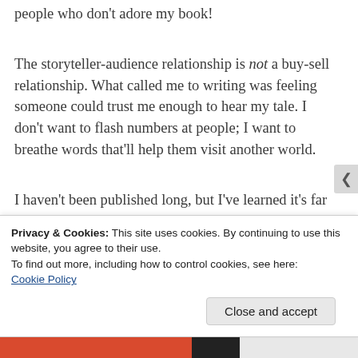people who don't adore my book!
The storyteller-audience relationship is not a buy-sell relationship. What called me to writing was feeling someone could trust me enough to hear my tale. I don't want to flash numbers at people; I want to breathe words that'll help them visit another world.
I haven't been published long, but I've learned it's far better to be a voice people trust than a
Privacy & Cookies: This site uses cookies. By continuing to use this website, you agree to their use.
To find out more, including how to control cookies, see here:
Cookie Policy
Close and accept